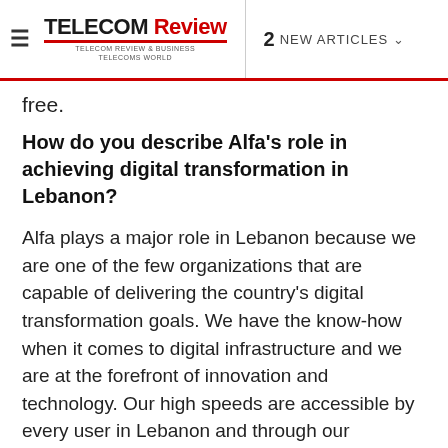≡ TELECOM Review | 2 NEW ARTICLES
free.
How do you describe Alfa's role in achieving digital transformation in Lebanon?
Alfa plays a major role in Lebanon because we are one of the few organizations that are capable of delivering the country's digital transformation goals. We have the know-how when it comes to digital infrastructure and we are at the forefront of innovation and technology. Our high speeds are accessible by every user in Lebanon and through our nationwide 4G LTE-A network, customers can enjoy speeds of 200-250 mbits/sec. This proudly puts Lebanon among the countries having the latest technological infrastructure and I am proud to say that